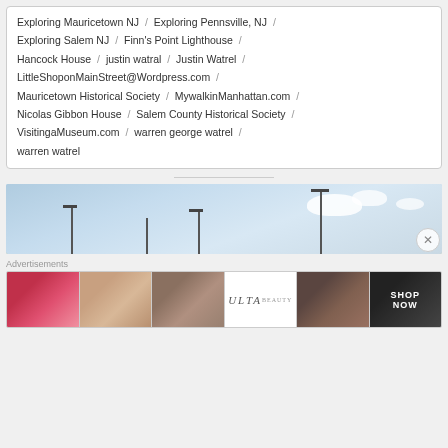Exploring Mauricetown NJ / Exploring Pennsville, NJ / Exploring Salem NJ / Finn's Point Lighthouse / Hancock House / justin watral / Justin Watrel / LittleShoponMainStreet@Wordpress.com / Mauricetown Historical Society / MywalkinManhattan.com / Nicolas Gibbon House / Salem County Historical Society / VisitingaMuseum.com / warren george watrel / warren watrel
[Figure (photo): Outdoor scene with street lamps against a blue sky with white clouds]
Advertisements
[Figure (photo): Ulta Beauty advertisement banner with makeup imagery and 'SHOP NOW' text]